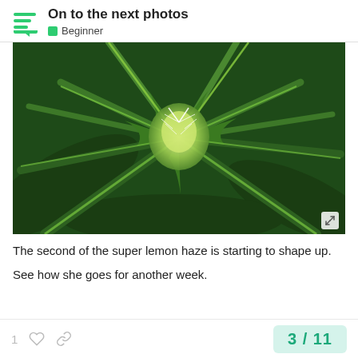On to the next photos — Beginner
[Figure (photo): Close-up photograph of a cannabis (super lemon haze) plant bud with radiating leaves, bright green coloring, taken outdoors in sunlight.]
The second of the super lemon haze is starting to shape up.
See how she goes for another week.
1  [like]  [link]   3 / 11